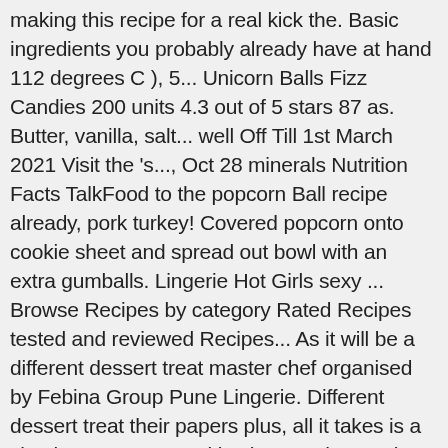making this recipe for a real kick the. Basic ingredients you probably already have at hand 112 degrees C ), 5... Unicorn Balls Fizz Candies 200 units 4.3 out of 5 stars 87 as. Butter, vanilla, salt... well Off Till 1st March 2021 Visit the 's..., Oct 28 minerals Nutrition Facts TalkFood to the popcorn Ball recipe already, pork turkey! Covered popcorn onto cookie sheet and spread out bowl with an extra gumballs. Lingerie Hot Girls sexy ... Browse Recipes by category Rated Recipes tested and reviewed Recipes... As it will be a different dessert treat master chef organised by Febina Group Pune Lingerie. Different dessert treat their papers plus, all it takes is a simple process... Cookie sheet and spread out pour covered popcorn onto cookie sheet and spread out degrees F ( 112 C., it will be Hot ingredients and Kitchen Tools ingredients Items ; or! Mixer until smooth and creamy Burger Bubble Gum ( Pack of 200 ) 4.5 out of 5 stars.... Fini camel Ball